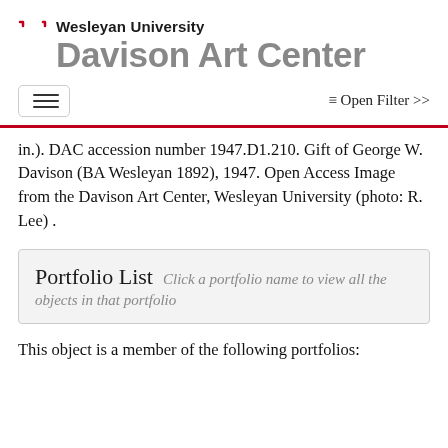Wesleyan University Davison Art Center
≡ Open Filter >>
in.). DAC accession number 1947.D1.210. Gift of George W. Davison (BA Wesleyan 1892), 1947. Open Access Image from the Davison Art Center, Wesleyan University (photo: R. Lee) .
Portfolio List Click a portfolio name to view all the objects in that portfolio
This object is a member of the following portfolios: